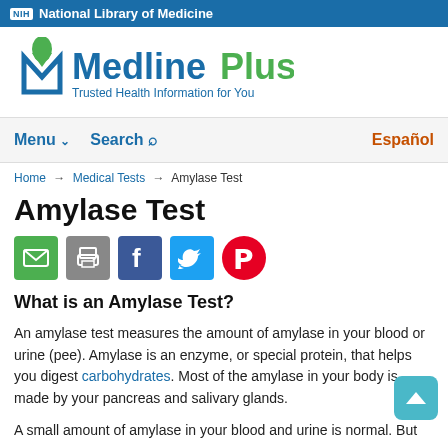NIH National Library of Medicine
[Figure (logo): MedlinePlus logo with tagline: Trusted Health Information for You]
Menu  Search  Español
Home → Medical Tests → Amylase Test
Amylase Test
[Figure (infographic): Social share icons: email, print, Facebook, Twitter, Pinterest]
What is an Amylase Test?
An amylase test measures the amount of amylase in your blood or urine (pee). Amylase is an enzyme, or special protein, that helps you digest carbohydrates. Most of the amylase in your body is made by your pancreas and salivary glands.
A small amount of amylase in your blood and urine is normal. But